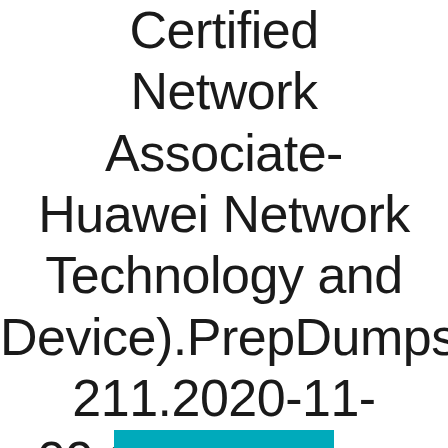(Certified Network Associate-Huawei Network Technology and Device).PrepDumps.211.2020-11-09.1e.324q.vcex